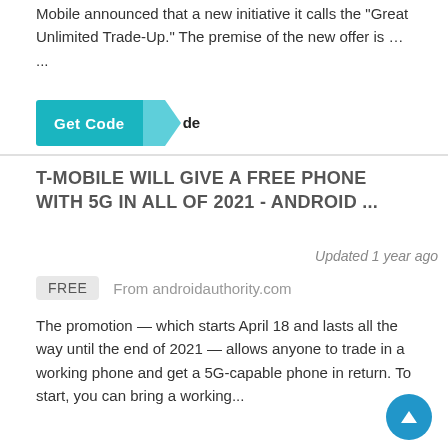Mobile announced that a new initiative it calls the "Great Unlimited Trade-Up." The premise of the new offer is … ...
[Figure (other): Get Code button with teal background and arrow element]
T-MOBILE WILL GIVE A FREE PHONE WITH 5G IN ALL OF 2021 - ANDROID ...
Updated 1 year ago
FREE   From androidauthority.com
The promotion — which starts April 18 and lasts all the way until the end of 2021 — allows anyone to trade in a working phone and get a 5G-capable phone in return. To start, you can bring a working...
...
[Figure (other): Get Code button with teal background and arrow element]